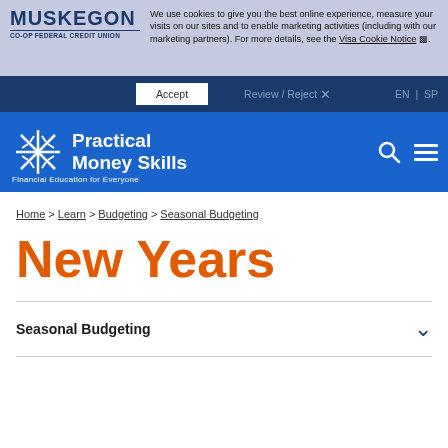We use cookies to give you the best online experience, measure your visits on our sites and to enable marketing activities (including with our marketing partners). For more details, see the Visa Cookie Notice.
[Figure (logo): Muskegon Co-Op Federal Credit Union logo]
Accept
Review / Reject
EN | SP
[Figure (logo): Practical Money Skills logo with asterisk icon]
Financial Education for Everyone
Home > Learn > Budgeting > Seasonal Budgeting
New Years
Seasonal Budgeting